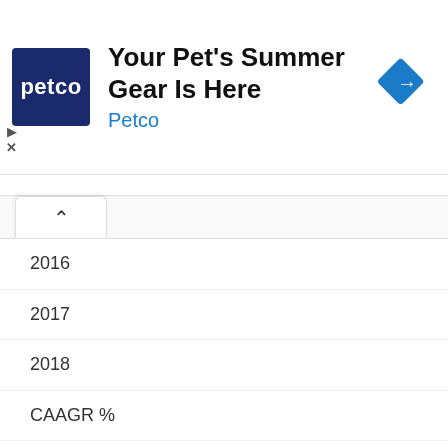[Figure (advertisement): Petco advertisement banner: 'Your Pet's Summer Gear Is Here' with Petco logo and navigation icon]
2016
2017
2018
CAAGR %
OFFICE EQUIPMENT Photocopiers
RtM $M
123 40
118 37
116 35